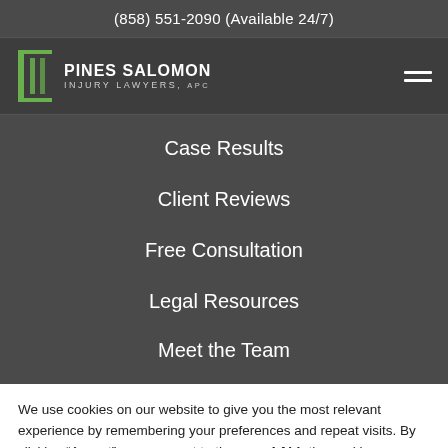(858) 551-2090 (Available 24/7)
[Figure (logo): Pines Salomon Injury Lawyers, APC logo with green pillar icon and firm name in white text on dark background, with hamburger menu icon on right]
Case Results
Client Reviews
Free Consultation
Legal Resources
Meet the Team
We use cookies on our website to give you the most relevant experience by remembering your preferences and repeat visits. By clicking “Accept”, you consent to the use of ALL the cookies.
kie settings  ACCEPT